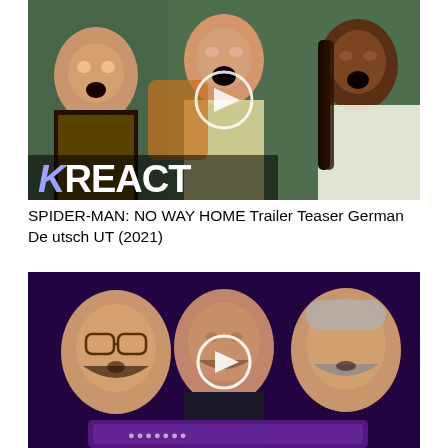[Figure (screenshot): Video thumbnail showing three people reacting with open mouths and surprised expressions, with 'KREACT' text overlay in white bold font on the lower left, and a play button circle in the center. Purple/dark background behind the REACT branding.]
SPIDER-MAN: NO WAY HOME Trailer Teaser German Deutsch UT (2021)
[Figure (screenshot): Video thumbnail showing three men with beards, one with glasses, against a purple background with partial text/logo at the bottom, and a white play button circle in the center.]